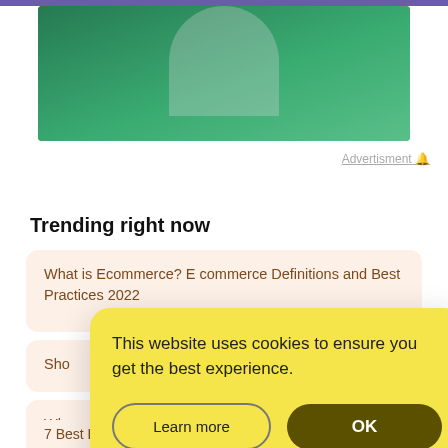[Figure (photo): Event banner with green background and a person, showing date SEPTEMBER 13 – 14 2022]
Advertisment 🔔
Trending right now
What is Ecommerce? E commerce Definitions and Best Practices 2022
Sho... ify
Wh... (Dro... Eco...
This website uses cookies to ensure you get the best experience.
7 Best Ecommerce Platforms in 2022: Wix vs Shopify vs